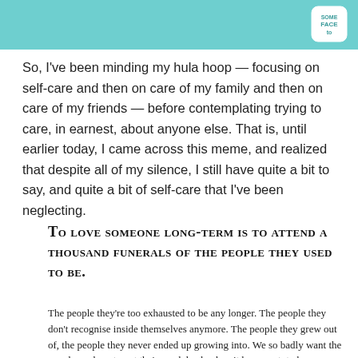[Figure (illustration): Teal/cyan banner header with a small logo in the top right corner reading 'FACE to' inside a rounded square badge]
So, I've been minding my hula hoop — focusing on self-care and then on care of my family and then on care of my friends — before contemplating trying to care, in earnest, about anyone else. That is, until earlier today, I came across this meme, and realized that despite all of my silence, I still have quite a bit to say, and quite a bit of self-care that I've been neglecting.
To love someone long-term is to attend a thousand funerals of the people they used to be.
The people they're too exhausted to be any longer. The people they don't recognise inside themselves anymore. The people they grew out of, the people they never ended up growing into. We so badly want the people we love to get their spark back when it burns out; to become speedily found when they are